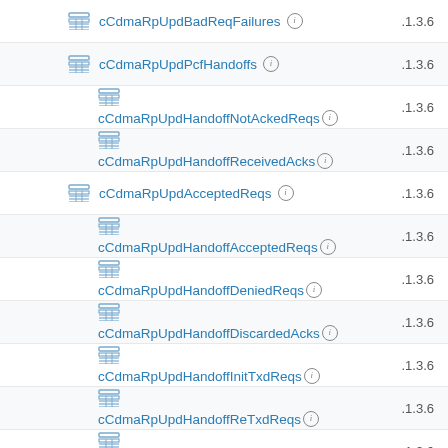cCdmaRpUpdBadReqFailures .1.3.6
cCdmaRpUpdPcfHandoffs .1.3.6
cCdmaRpUpdHandoffNotAckedReqs .1.3.6
cCdmaRpUpdHandoffReceivedAcks .1.3.6
cCdmaRpUpdAcceptedReqs .1.3.6
cCdmaRpUpdHandoffAcceptedReqs .1.3.6
cCdmaRpUpdHandoffDeniedReqs .1.3.6
cCdmaRpUpdHandoffDiscardedAcks .1.3.6
cCdmaRpUpdHandoffInitTxdReqs .1.3.6
cCdmaRpUpdHandoffReTxdReqs .1.3.6
cCdmaRpUpdHandoffReaUnSpecFails .1.3.6